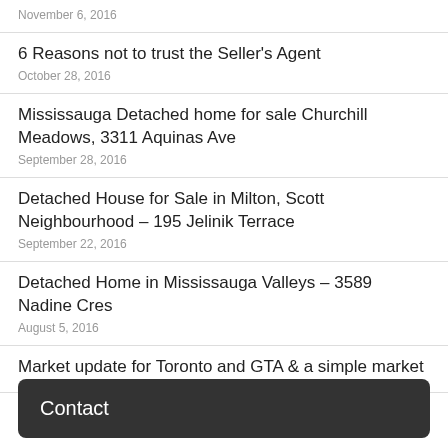November 6, 2016
6 Reasons not to trust the Seller's Agent
October 28, 2016
Mississauga Detached home for sale Churchill Meadows, 3311 Aquinas Ave
September 28, 2016
Detached House for Sale in Milton, Scott Neighbourhood – 195 Jelinik Terrace
September 22, 2016
Detached Home in Mississauga Valleys – 3589 Nadine Cres
August 5, 2016
Market update for Toronto and GTA & a simple market
This website uses cookies to improve your experience. We'll
Contact